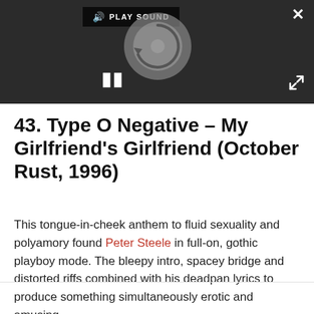[Figure (screenshot): Media player UI with dark background showing a vinyl disc loading animation, a PLAY SOUND button, a pause button, close (X) button, and expand button.]
43. Type O Negative – My Girlfriend's Girlfriend (October Rust, 1996)
This tongue-in-cheek anthem to fluid sexuality and polyamory found Peter Steele in full-on, gothic playboy mode. The bleepy intro, spacey bridge and distorted riffs combined with his deadpan lyrics to produce something simultaneously erotic and amusing.